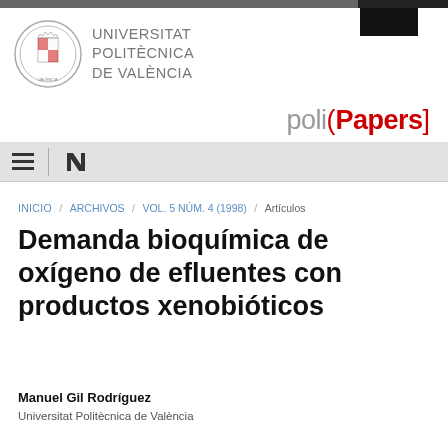[Figure (logo): Universitat Politècnica de València logo with circular seal and name text, and poliPapers brand logo]
INICIO / ARCHIVOS / VOL. 5 NÚM. 4 (1998) / Artículos
Demanda bioquímica de oxígeno de efluentes con productos xenobióticos
Manuel Gil Rodríguez
Universitat Politècnica de València